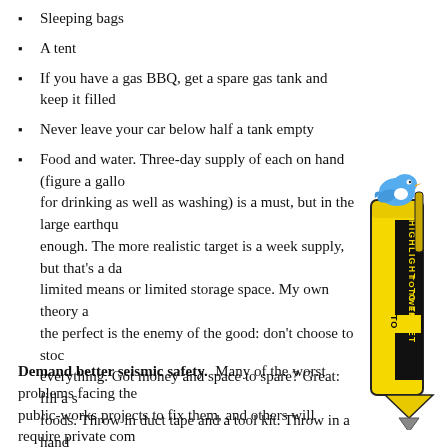Sleeping bags
A tent
If you have a gas BBQ, get a spare gas tank and keep it filled
Never leave your car below half a tank empty
Food and water. Three-day supply of each on hand (figure a gallo for drinking as well as washing) is a must, but in the large earthqu enough. The more realistic target is a week supply, but that's a da limited means or limited storage space. My own theory a the perfect is the enemy of the good: don't choose to stoc everything. Got money and space to spare? Great: fill a s foods. Throw in duct tape and a tool kit. Throw in a hand iodine. Don't have much money or space? Make a small afford. Everything you have, you'll use; everything you d resources for those in even greater need. The food in you summer heat, but you can get some additional supplies a online.  Google it.
[Figure (illustration): Yellow highlighter marker with a blue Twitter bird on top, and text reading HIGHLIGHT TO TWEET in black vertical text on the yellow body]
Demand better seismic safety.  Many of the worst problems facing the public-works projects to fix them, and others will require private com